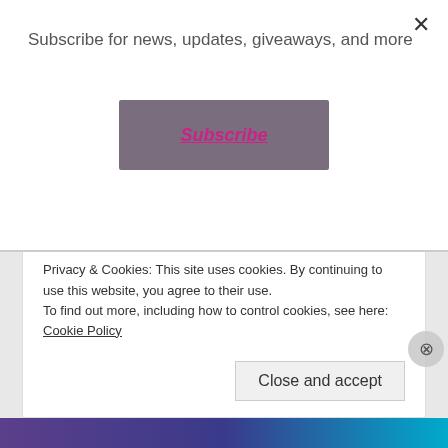Subscribe for news, updates, giveaways, and more
[Figure (other): Subscribe button - purple/grey rectangular button with italic pink underlined text 'Subscribe']
“You are mighty sure of yourself,” she swallowed hard.
“Confidence is key.”
Privacy & Cookies: This site uses cookies. By continuing to use this website, you agree to their use.
To find out more, including how to control cookies, see here:
Cookie Policy
Close and accept